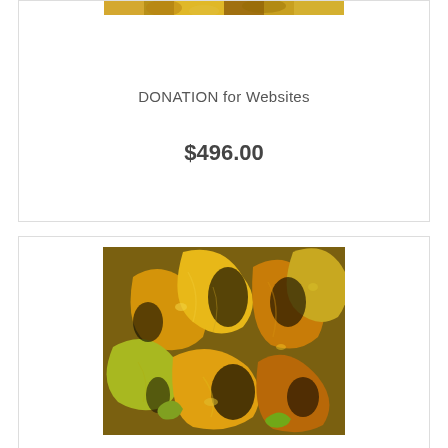[Figure (photo): Partial view of autumn leaves photo at top of first card, cropped]
DONATION for Websites
$496.00
[Figure (photo): Close-up photo of autumn maple leaves in golden orange and yellow tones with dark shadows]